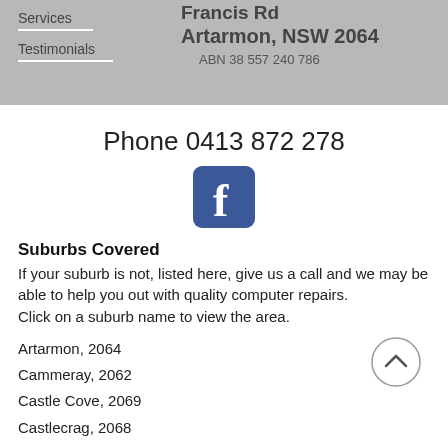Computers Francis Rd Artarmon, NSW 2064 ABN 38 557 240 786 | Services | Testimonials
Phone  0413 872 278
[Figure (logo): Facebook logo icon — white 'f' on blue rounded square background]
Suburbs Covered
If your suburb is not, listed here, give us a call and we may be able to help you out with quality computer repairs.
Click on a suburb name to view the area.
Artarmon, 2064
Cammeray, 2062
Castle Cove, 2069
Castlecrag, 2068
Chatswood West, 2067
Chatswood, 2067
Cremorne Point, 2090